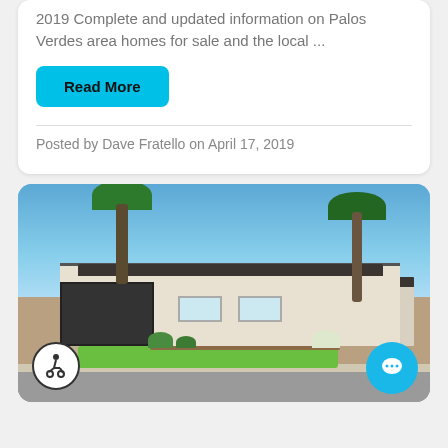2019 Complete and updated information on Palos Verdes area homes for sale and the local ...
Read More
Posted by Dave Fratello on April 17, 2019
[Figure (photo): Exterior photo of a single-story ranch-style house with dark roof, white walls, palm trees, green lawn, and blue sky in Palos Verdes area. Accessibility icon in bottom-left and chat bubble icon in bottom-right.]